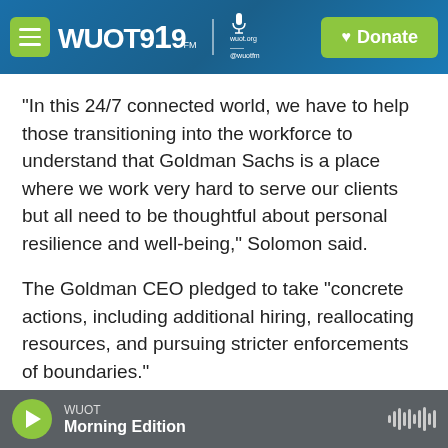WUOT 91.9 FM | wuot.org @wuotfm | Donate
"In this 24/7 connected world, we have to help those transitioning into the workforce to understand that Goldman Sachs is a place where we work very hard to serve our clients but all need to be thoughtful about personal resilience and well-being," Solomon said.
The Goldman CEO pledged to take "concrete actions, including additional hiring, reallocating resources, and pursuing stricter enforcements of boundaries."
And he committed to...
WUOT | Morning Edition